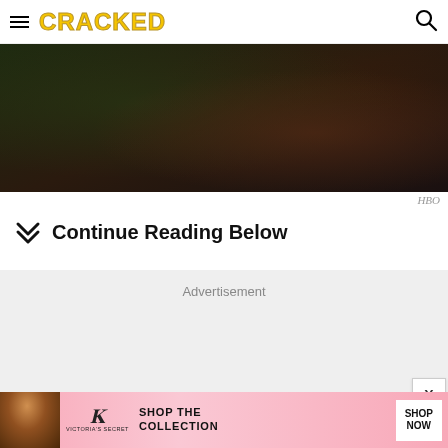CRACKED
[Figure (photo): Dark cinematic photo showing hands and dark clothing, appears to be from an HBO production]
HBO
Continue Reading Below
[Figure (other): Advertisement placeholder box with light gray background]
[Figure (other): Victoria's Secret banner advertisement - Shop The Collection - Shop Now]